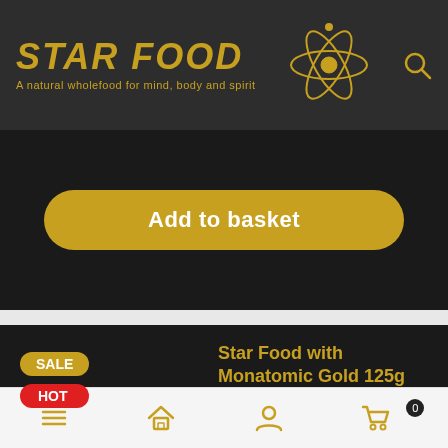STAR FOOD — A natural wholefood for mind, body and spirit
Add to basket
[Figure (other): SALE and HOT badges on dark product card]
Star Food with Monatomic Gold 125g (VEGAN)
(0 Reviews)
Star Food Vegan Blend is totally natural way of taking Monatomic Gold, it's a
Navigation bar with menu, home, account, and cart (0) icons